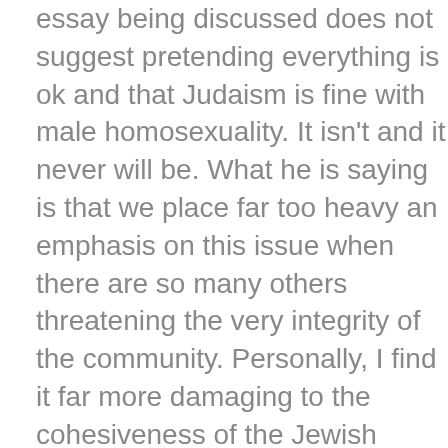essay being discussed does not suggest pretending everything is ok and that Judaism is fine with male homosexuality. It isn't and it never will be. What he is saying is that we place far too heavy an emphasis on this issue when there are so many others threatening the very integrity of the community. Personally, I find it far more damaging to the cohesiveness of the Jewish community when we run after, fawn on, and honor wealthy